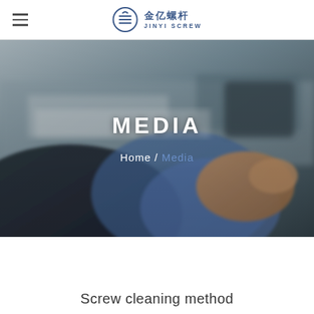金亿螺杆 JINYI SCREW
[Figure (photo): Blurred background photo showing hands working, person in dark suit jacket manipulating industrial or mechanical components; hero banner image with overlay text MEDIA and breadcrumb Home / Media]
MEDIA
Home / Media
Screw cleaning method